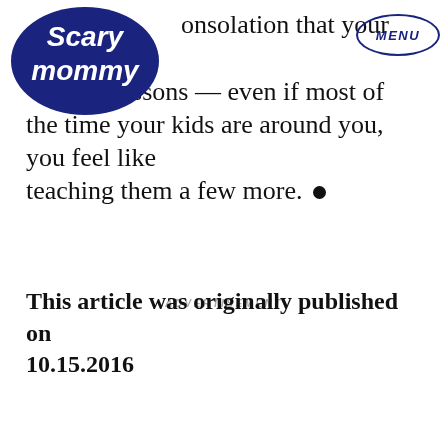Scary Mommy [logo] MENU
consolation that your child of your lessons — even if most of the time your kids are around you, you feel like teaching them a few more. •
ADVERTISEMENT
This article was originally published on 10.15.2016